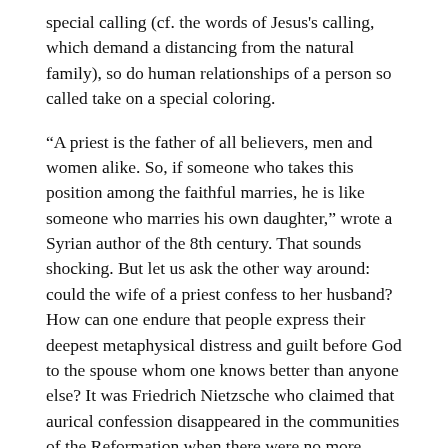special calling (cf. the words of Jesus's calling, which demand a distancing from the natural family), so do human relationships of a person so called take on a special coloring.
“A priest is the father of all believers, men and women alike. So, if someone who takes this position among the faithful marries, he is like someone who marries his own daughter,” wrote a Syrian author of the 8th century. That sounds shocking. But let us ask the other way around: could the wife of a priest confess to her husband? How can one endure that people express their deepest metaphysical distress and guilt before God to the spouse whom one knows better than anyone else? It was Friedrich Nietzsche who claimed that aurical confession disappeared in the communities of the Reformation when there were no more celibate clergy.